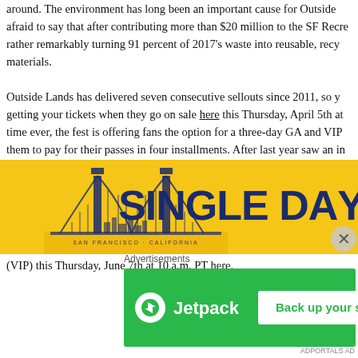around. The environment has long been an important cause for Outside Lands, afraid to say that after contributing more than $20 million to the SF Recreation rather remarkably turning 91 percent of 2017's waste into reusable, recyclable materials.
Outside Lands has delivered seven consecutive sellouts since 2011, so you'll want to be getting your tickets when they go on sale here this Thursday, April 5th at 10 a.m. PT. For the first time ever, the fest is offering fans the option for a three-day GA and VIP passes, allowing them to pay for their passes in four installments. After last year saw an increase in price, three-day GA passes will start once again at $375 while VIP passes will be available starting at...
UPDATE (June 5th): Outside Lands has revealed its daily lineups for 2018, with Kendrick Lamar taking the stage Friday, Florence + the Machine playing Saturday and Janet Jackson headlining Sunday. See the daily schedules below before single-day tickets go on sale at 10 a.m. PT (GA) and (VIP) this Thursday, June 7th at 10 a.m. PT here.
[Figure (infographic): Yellow banner advertisement showing Golden Gate Bridge illustration and 'SINGLE DAY' text in dark navy blue on yellow background]
[Figure (infographic): Jetpack advertisement banner with green background, Jetpack logo and 'Back up your site' button]